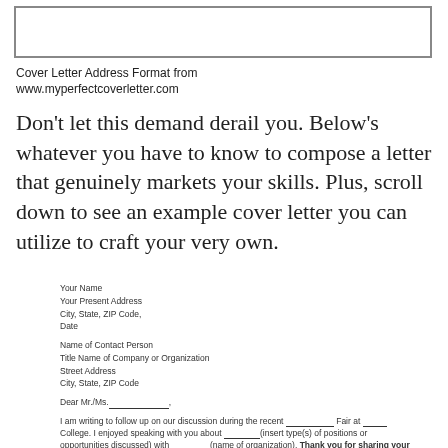[Figure (other): Empty bordered rectangle header box]
Cover Letter Address Format from
www.myperfectcoverletter.com
Don't let this demand derail you. Below's whatever you have to know to compose a letter that genuinely markets your skills. Plus, scroll down to see an example cover letter you can utilize to craft your very own.
Your Name
Your Present Address
City, State, ZIP Code,
Date

Name of Contact Person
Title Name of Company or Organization
Street Address
City, State, ZIP Code

Dear Mr./Ms._____________,

I am writing to follow up on our discussion during the recent __________ Fair at _____ College. I enjoyed speaking with you about ________(insert type(s) of positions or opportunities discussed) with ________ (name of organization). Thank you for sharing your insights about the recruiting process and the current needs of your organization.

As we discussed, I will be graduating in ________ (date of graduation) with a degree in ________ (major). In researching your organization, I am particularly interested in _________ (cite 1-2 facts). (Next, highlight